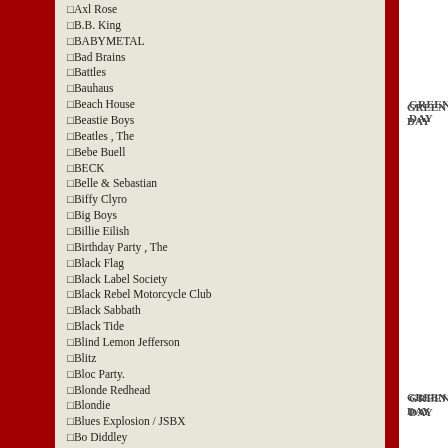□Axl Rose
□B.B. King
□BABYMETAL
□Bad Brains
□Battles
□Bauhaus
□Beach House
□Beastie Boys
□Beatles , The
□Bebe Buell
□BECK
□Belle & Sebastian
□Biffy Clyro
□Big Boys
□Billie Eilish
□Birthday Party , The
□Black Flag
□Black Label Society
□Black Rebel Motorcycle Club
□Black Sabbath
□Black Tide
□Blind Lemon Jefferson
□Blitz
□Bloc Party.
□Blonde Redhead
□Blondie
□Blues Explosion / JSBX
□Bo Diddley
□Bob Dylan
□Bob Marley
□Bob Mould
GREEN DAY
GREEN DAY
GREEN DAY
GREEN DAY